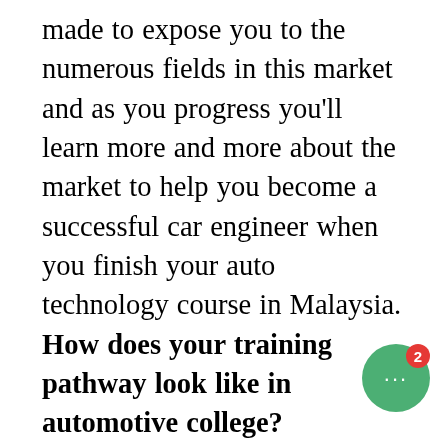made to expose you to the numerous fields in this market and as you progress you'll learn more and more about the market to help you become a successful car engineer when you finish your auto technology course in Malaysia. How does your training pathway look like in automotive college? Automobile technology degrees are normally 3-4 years long. Though if you decide to do a diploma in automotive technology, it's normally 2 to 2.5 years long! What'll you study in the automobile course? Car technology courses are normally tailored to give you a huge range of industry-related knowledge. Upon completion of your diploma, you'll be ready to enter the market and immediately apply your skills set that you have learned. In the